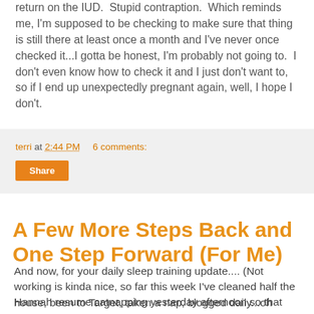return on the IUD.  Stupid contraption.  Which reminds me, I'm supposed to be checking to make sure that thing is still there at least once a month and I've never once checked it...I gotta be honest, I'm probably not going to.  I don't even know how to check it and I just don't want to, so if I end up unexpectedly pregnant again, well, I hope I don't.
terri at 2:44 PM   6 comments:
Share
A Few More Steps Back and One Step Forward (For Me)
And now, for your daily sleep training update.... (Not working is kinda nice, so far this week I've cleaned half the house, been to Target, taken a nap, blogged daily...oh yeah, and RELAXED--just a bit though--and it's only Tuesday!).
Hannah resume catnapping yesterday afternoon so that was